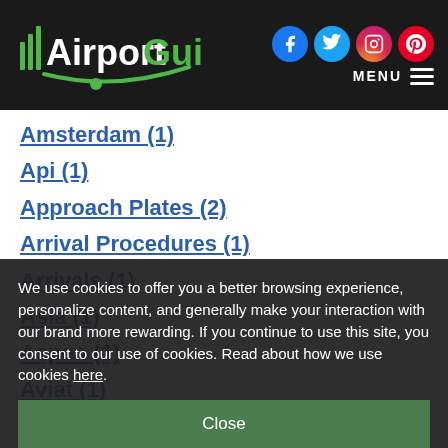AirportGuide — MENU
Amsterdam (1)
Api (1)
Approach Plates (2)
Arrival Procedures (1)
Arrivals (1)
Asia (1)
Aspen (1)
Aviat (1)
We use cookies to offer you a better browsing experience, personalize content, and generally make your interaction with our brand more rewarding. If you continue to use this site, you consent to our use of cookies. Read about how we use cookies here.
Close